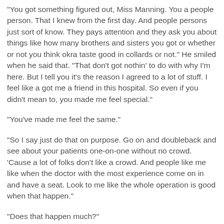"You got something figured out, Miss Manning. You a people person. That I knew from the first day. And people persons just sort of know. They pays attention and they ask you about things like how many brothers and sisters you got or whether or not you think okra taste good in collards or not." He smiled when he said that. "That don't got nothin' to do with why I'm here. But I tell you it's the reason I agreed to a lot of stuff. I feel like a got me a friend in this hospital. So even if you didn't mean to, you made me feel special."
"You've made me feel the same."
"So I say just do that on purpose. Go on and doubleback and see about your patients one-on-one without no crowd. 'Cause a lot of folks don't like a crowd. And people like me like when the doctor with the most experience come on in and have a seat. Look to me like the whole operation is good when that happen."
"Does that happen much?"
"No, it don't. That's why I'm telling you this."